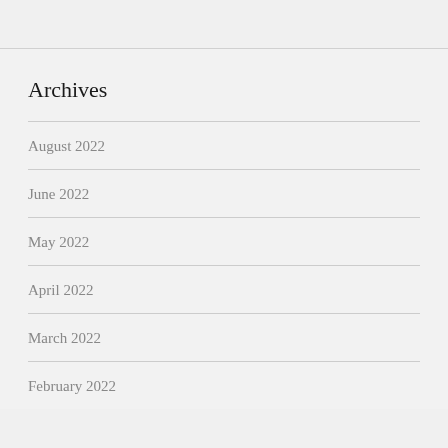Archives
August 2022
June 2022
May 2022
April 2022
March 2022
February 2022